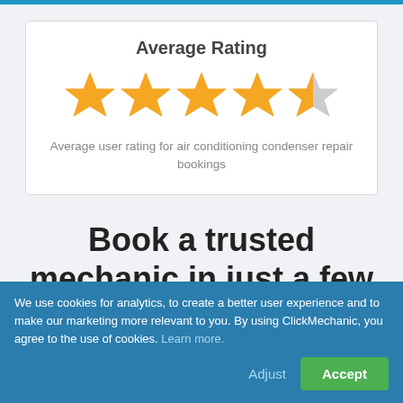Average Rating
[Figure (infographic): 5-star rating graphic showing approximately 4.5 out of 5 stars in gold/yellow color, with the last star partially filled in grey]
Average user rating for air conditioning condenser repair bookings
Book a trusted mechanic in just a few clicks
We use cookies for analytics, to create a better user experience and to make our marketing more relevant to you. By using ClickMechanic, you agree to the use of cookies. Learn more.